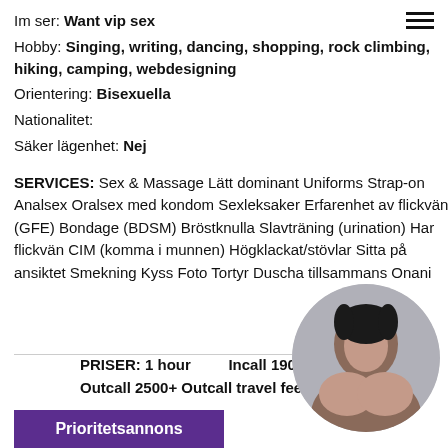Im ser: Want vip sex
Hobby: Singing, writing, dancing, shopping, rock climbing, hiking, camping, webdesigning
Orientering: Bisexuella
Nationalitet:
Säker lägenhet: Nej
SERVICES: Sex & Massage Lätt dominant Uniforms Strap-on Analsex Oralsex med kondom Sexleksaker Erfarenhet av flickvän (GFE) Bondage (BDSM) Bröstknulla Slavträning (urination) Har flickvän CIM (komma i munnen) Högklackat/stövlar Sitta på ansiktet Smekning Kyss Foto Tortyr Duscha tillsammans Onani
PRISER: 1 hour   Incall 1900 Sk  Outcall 2500+ Outcall travel fee(taxi)
[Figure (photo): Circular cropped photo of a woman]
Prioritetsannons